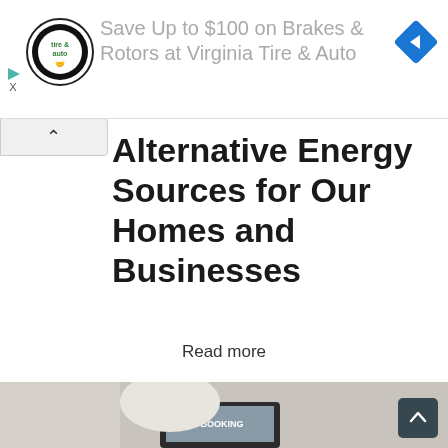[Figure (screenshot): Advertisement banner for Virginia Tire & Auto with circular logo on left, text 'Save Up to $100 on Brakes & Rotors at Virginia Tire & Auto' in gray, and blue diamond navigation icon on right. Small play and X controls on far left.]
Alternative Energy Sources for Our Homes and Businesses
Read more
[Figure (photo): Woman sitting on sofa looking at a laptop showing a BOOKING website, while holding a phone to her ear, wearing a beige top and jeans.]